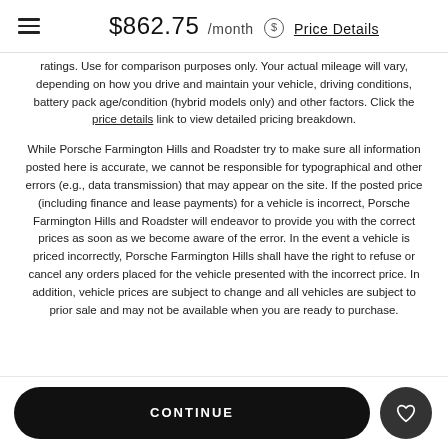$862.75 /month ⊙ Price Details
ratings. Use for comparison purposes only. Your actual mileage will vary, depending on how you drive and maintain your vehicle, driving conditions, battery pack age/condition (hybrid models only) and other factors. Click the price details link to view detailed pricing breakdown.
While Porsche Farmington Hills and Roadster try to make sure all information posted here is accurate, we cannot be responsible for typographical and other errors (e.g., data transmission) that may appear on the site. If the posted price (including finance and lease payments) for a vehicle is incorrect, Porsche Farmington Hills and Roadster will endeavor to provide you with the correct prices as soon as we become aware of the error. In the event a vehicle is priced incorrectly, Porsche Farmington Hills shall have the right to refuse or cancel any orders placed for the vehicle presented with the incorrect price. In addition, vehicle prices are subject to change and all vehicles are subject to prior sale and may not be available when you are ready to purchase.